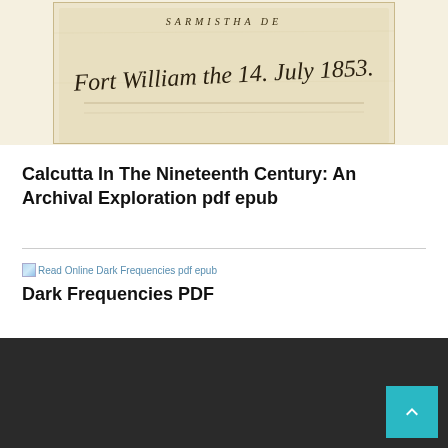[Figure (photo): Scanned handwritten document showing cursive script text 'SARMISTHA DE' and 'Fort William the 14. July 1853.' on aged yellowish paper]
Calcutta In The Nineteenth Century: An Archival Exploration pdf epub
[Figure (photo): Broken image icon placeholder for Dark Frequencies pdf epub book cover]
Dark Frequencies PDF